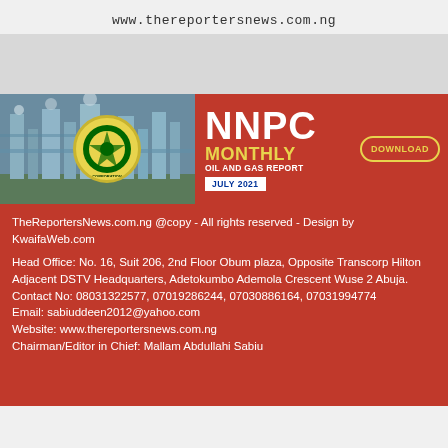www.thereportersnews.com.ng
[Figure (infographic): NNPC Monthly Oil and Gas Report July 2021 banner advertisement with industrial refinery image, NNPC logo, and download button]
TheReportersNews.com.ng @copy - All rights reserved - Design by KwaifaWeb.com
Head Office: No. 16, Suit 206, 2nd Floor Obum plaza, Opposite Transcorp Hilton
Adjacent DSTV Headquarters, Adetokumbo Ademola Crescent Wuse 2 Abuja.
Contact No: 08031322577, 07019286244, 07030886164, 07031994774
Email: sabiuddeen2012@yahoo.com
Website: www.thereportersnews.com.ng
Chairman/Editor in Chief: Mallam Abdullahi Sabiu